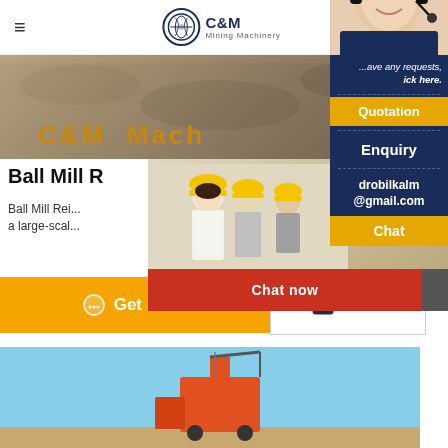C&M Mining Machinery
[Figure (photo): Hero banner with sandy/rocky ground texture and orange text reading C&M Mach]
Ball Mill R
Ball Mill Rei... a large-scal...
[Figure (photo): Live chat popup overlay showing workers in hard hats and a customer service representative with headset]
[Figure (screenshot): Right sidebar showing customer service agent photo with headset, have any requests click here., Quotation button, Enquiry text, drobilkalm@gmail.com email, Chat button]
Get Price
Send
[Figure (photo): Bottom image showing construction/mining equipment against blue sky background]